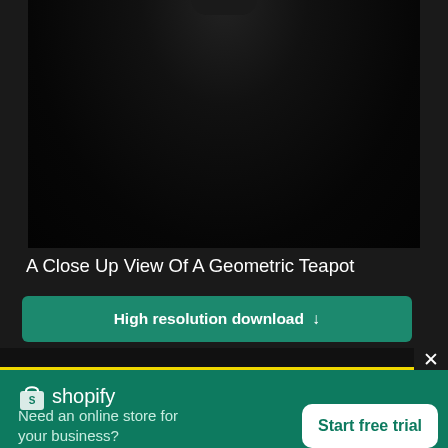[Figure (photo): Close up dark photo of a geometric teapot on black background]
A Close Up View Of A Geometric Teapot
High resolution download ↓
[Figure (logo): Shopify logo — shopping bag icon with 'S' and the word 'shopify']
Need an online store for your business?
Start free trial